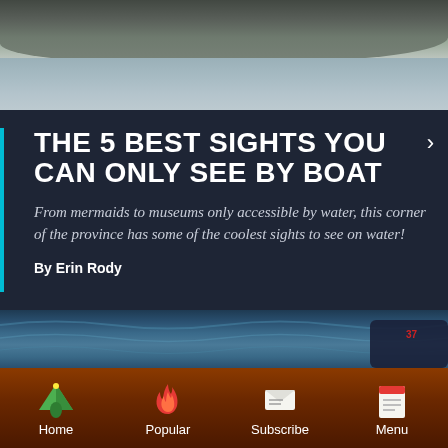[Figure (photo): Top area: rocky shoreline and water background photo]
THE 5 BEST SIGHTS YOU CAN ONLY SEE BY BOAT
From mermaids to museums only accessible by water, this corner of the province has some of the coolest sights to see on water!
By Erin Rody
[Figure (photo): Water/lake scene with a boat visible at the right]
Home  Popular  Subscribe  Menu